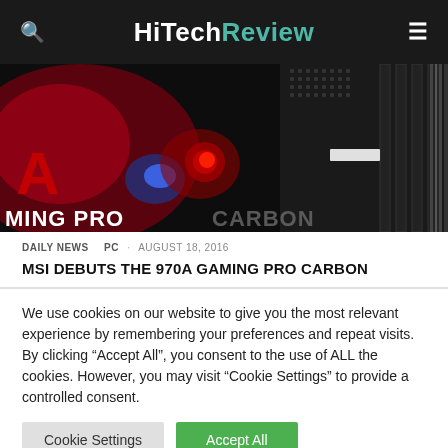HiTechReview
[Figure (photo): MSI 970A Gaming Pro Carbon motherboard hero image with red and blue lighting effects and carbon fiber pattern]
DAILY NEWS   PC  ·  AUGUST 18, 2016
MSI DEBUTS THE 970A GAMING PRO CARBON
We use cookies on our website to give you the most relevant experience by remembering your preferences and repeat visits. By clicking "Accept All", you consent to the use of ALL the cookies. However, you may visit "Cookie Settings" to provide a controlled consent.